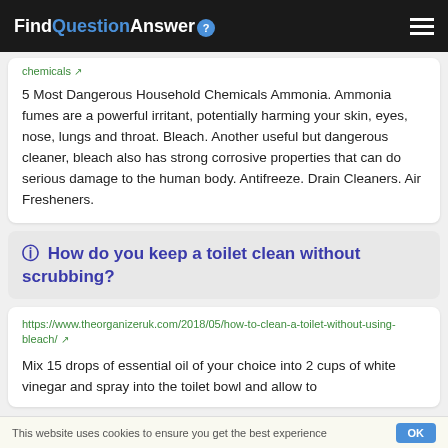FindQuestionAnswer
chemicals ↗
5 Most Dangerous Household Chemicals Ammonia. Ammonia fumes are a powerful irritant, potentially harming your skin, eyes, nose, lungs and throat. Bleach. Another useful but dangerous cleaner, bleach also has strong corrosive properties that can do serious damage to the human body. Antifreeze. Drain Cleaners. Air Fresheners.
How do you keep a toilet clean without scrubbing?
https://www.theorganizeruk.com/2018/05/how-to-clean-a-toilet-without-using-bleach/ ↗
Mix 15 drops of essential oil of your choice into 2 cups of white vinegar and spray into the toilet bowl and allow to
This website uses cookies to ensure you get the best experience